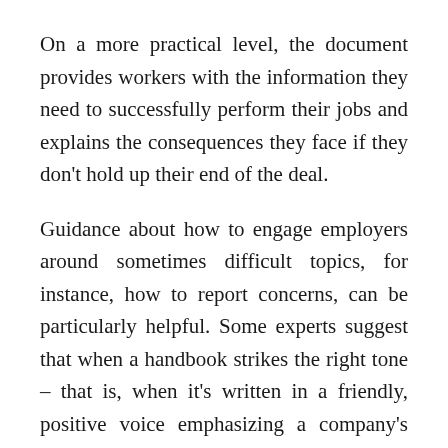On a more practical level, the document provides workers with the information they need to successfully perform their jobs and explains the consequences they face if they don't hold up their end of the deal.
Guidance about how to engage employers around sometimes difficult topics, for instance, how to report concerns, can be particularly helpful. Some experts suggest that when a handbook strikes the right tone – that is, when it's written in a friendly, positive voice emphasizing a company's culture, values, and perks – it can strengthen the employee-employer relationship and boost employee